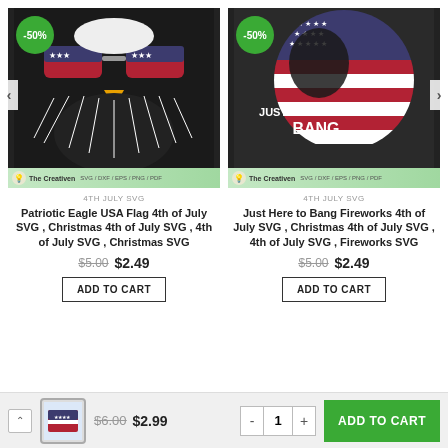[Figure (illustration): Patriotic bald eagle wearing American flag sunglasses, black background, -50% discount badge, The Creativen brand bar]
[Figure (illustration): Just Here to Bang fireworks text on American flag circle, black background, -50% discount badge, The Creativen brand bar]
4TH JULY SVG
Patriotic Eagle USA Flag 4th of July SVG , Christmas 4th of July SVG , 4th of July SVG , Christmas SVG
$5.00 $2.49
ADD TO CART
4TH JULY SVG
Just Here to Bang Fireworks 4th of July SVG , Christmas 4th of July SVG , 4th of July SVG , Fireworks SVG
$5.00 $2.49
ADD TO CART
$6.00 $2.99
- 1 +
ADD TO CART